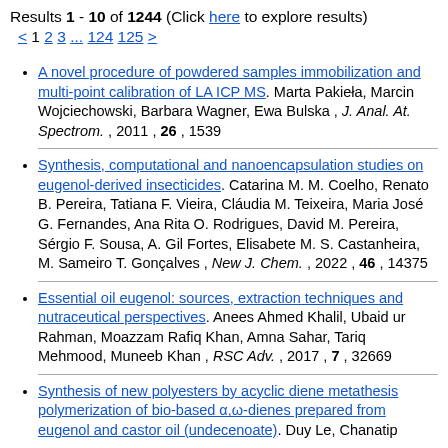Results 1 - 10 of 1244 (Click here to explore results)
< 1 2 3 ... 124 125 >
A novel procedure of powdered samples immobilization and multi-point calibration of LA ICP MS. Marta Pakieła, Marcin Wojciechowski, Barbara Wagner, Ewa Bulska , J. Anal. At. Spectrom. , 2011 , 26 , 1539
Synthesis, computational and nanoencapsulation studies on eugenol-derived insecticides. Catarina M. M. Coelho, Renato B. Pereira, Tatiana F. Vieira, Cláudia M. Teixeira, Maria José G. Fernandes, Ana Rita O. Rodrigues, David M. Pereira, Sérgio F. Sousa, A. Gil Fortes, Elisabete M. S. Castanheira, M. Sameiro T. Gonçalves , New J. Chem. , 2022 , 46 , 14375
Essential oil eugenol: sources, extraction techniques and nutraceutical perspectives. Anees Ahmed Khalil, Ubaid ur Rahman, Moazzam Rafiq Khan, Amna Sahar, Tariq Mehmood, Muneeb Khan , RSC Adv. , 2017 , 7 , 32669
Synthesis of new polyesters by acyclic diene metathesis polymerization of bio-based α,ω-dienes prepared from eugenol and castor oil (undecenoate). Duy Le, Chanatip